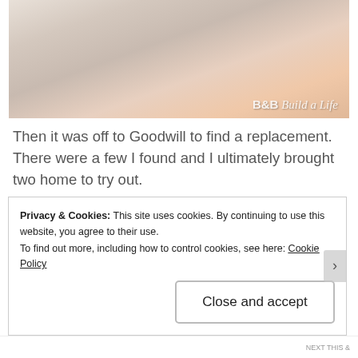[Figure (photo): Close-up photo of a hand holding a marker or pen, with watermark text 'B&B Build a Life' in italic script in lower right corner]
Then it was off to Goodwill to find a replacement.  There were a few I found and I ultimately brought two home to try out.
[Figure (photo): Dark photo of dishes and bowls on shelves in what appears to be a thrift store or kitchen setting]
Privacy & Cookies: This site uses cookies. By continuing to use this website, you agree to their use.
To find out more, including how to control cookies, see here: Cookie Policy
Close and accept